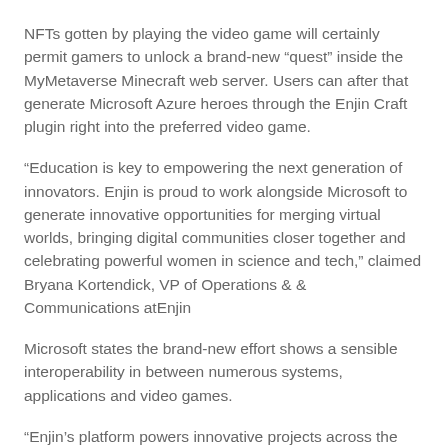NFTs gotten by playing the video game will certainly permit gamers to unlock a brand-new “quest” inside the MyMetaverse Minecraft web server. Users can after that generate Microsoft Azure heroes through the Enjin Craft plugin right into the preferred video game.
“Education is key to empowering the next generation of innovators. Enjin is proud to work alongside Microsoft to generate innovative opportunities for merging virtual worlds, bringing digital communities closer together and celebrating powerful women in science and tech,” claimed Bryana Kortendick, VP of Operations & & Communications atEnjin
Microsoft states the brand-new effort shows a sensible interoperability in between numerous systems, applications and video games.
“Enjin’s platform powers innovative projects across the gaming and wider blockchain ecosystem,” claimed Sherry List, Azure programmer interaction lead atMicrosoft